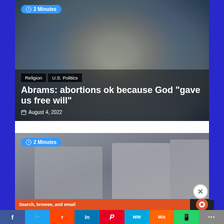[Figure (photo): Photo of Stacey Abrams speaking with microphones, wearing a light blazer, outdoors]
2 Minutes
Religion | U.S. Politics
Abrams: abortions ok because God "gave us free will"
August 4, 2022
[Figure (photo): Photo of people in white robes/clergy attire outdoors]
2 Minutes
Advertisements
Search, browse, and email with more privacy
f  Twitter  Reddit  in  Pinterest  MW  Mix  WhatsApp  Share